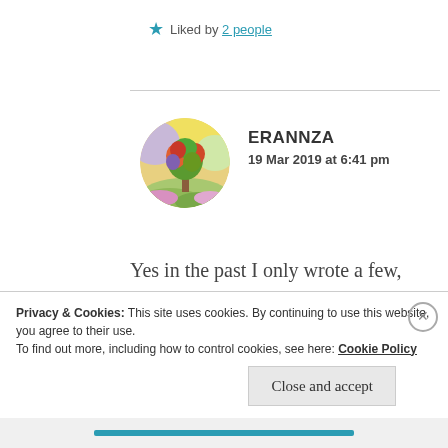★ Liked by 2 people
ERANNZA
19 Mar 2019 at 6:41 pm
[Figure (illustration): Circular avatar image showing a colorful watercolor painting of a tree with vivid rainbow colors in a landscape]
Yes in the past I only wrote a few, wrote mostly in English (when I was younger in French), but lately I have discovered she has learnt to speak Italian and I believe she even
Privacy & Cookies: This site uses cookies. By continuing to use this website, you agree to their use.
To find out more, including how to control cookies, see here: Cookie Policy
Close and accept